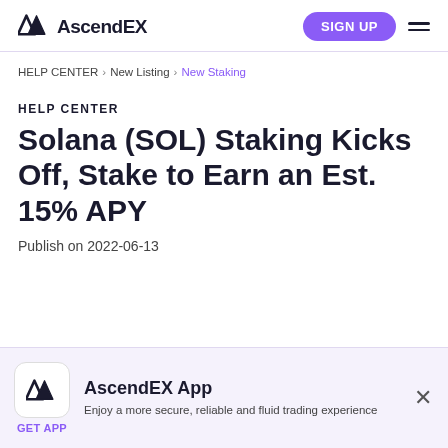AscendEX — SIGN UP
HELP CENTER > New Listing > New Staking
HELP CENTER
Solana (SOL) Staking Kicks Off, Stake to Earn an Est. 15% APY
Publish on 2022-06-13
AscendEX App — Enjoy a more secure, reliable and fluid trading experience — GET APP